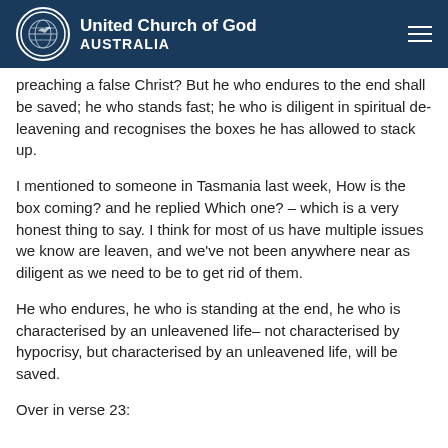United Church of God AUSTRALIA
preaching a false Christ? But he who endures to the end shall be saved; he who stands fast; he who is diligent in spiritual de-leavening and recognises the boxes he has allowed to stack up.
I mentioned to someone in Tasmania last week, How is the box coming? and he replied Which one? – which is a very honest thing to say. I think for most of us have multiple issues we know are leaven, and we've not been anywhere near as diligent as we need to be to get rid of them.
He who endures, he who is standing at the end, he who is characterised by an unleavened life– not characterised by hypocrisy, but characterised by an unleavened life, will be saved.
Over in verse 23: